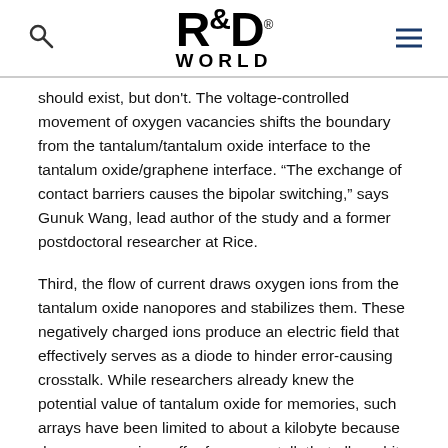R&D WORLD
should exist, but don't. The voltage-controlled movement of oxygen vacancies shifts the boundary from the tantalum/tantalum oxide interface to the tantalum oxide/graphene interface. “The exchange of contact barriers causes the bipolar switching,” says Gunuk Wang, lead author of the study and a former postdoctoral researcher at Rice.
Third, the flow of current draws oxygen ions from the tantalum oxide nanopores and stabilizes them. These negatively charged ions produce an electric field that effectively serves as a diode to hinder error-causing crosstalk. While researchers already knew the potential value of tantalum oxide for memories, such arrays have been limited to about a kilobyte because denser memories suffer from crosstalk that allows bits to be misread.
The graphene does double duty as a barrier that keeps platinum